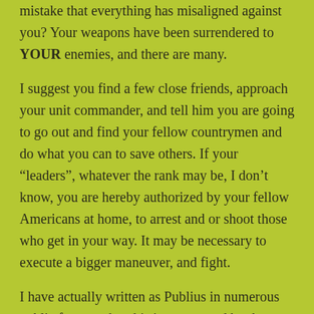mistake that everything has misaligned against you? Your weapons have been surrendered to YOUR enemies, and there are many.
I suggest you find a few close friends, approach your unit commander, and tell him you are going to go out and find your fellow countrymen and do what you can to save others. If your “leaders”, whatever the rank may be, I don’t know, you are hereby authorized by your fellow Americans at home, to arrest and or shoot those who get in your way. It may be necessary to execute a bigger maneuver, and fight.
I have actually written as Publius in numerous public forums, that this is war waged by the dementocrats against We, the People, and I fight back.